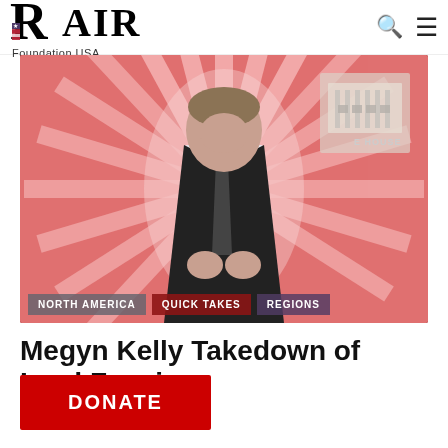RAIR Foundation USA
[Figure (photo): Man in dark suit with pink/red sunburst background, White House overlay visible at top right. Category tags at bottom: NORTH AMERICA, QUICK TAKES, REGIONS.]
Megyn Kelly Takedown of Lord Fauci
DONATE